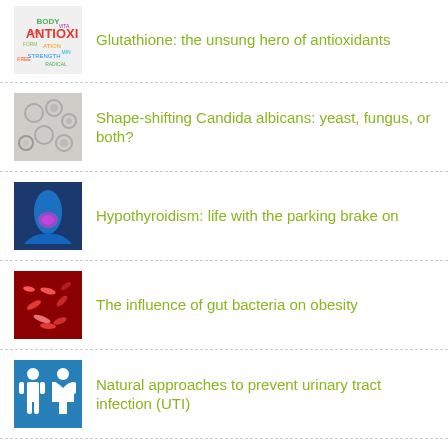Glutathione: the unsung hero of antioxidants
Shape-shifting Candida albicans: yeast, fungus, or both?
Hypothyroidism: life with the parking brake on
The influence of gut bacteria on obesity
Natural approaches to prevent urinary tract infection (UTI)
Give a shout-out to sprouts!